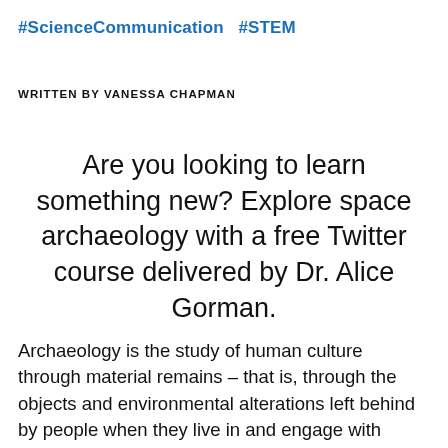#ScienceCommunication  #STEM
WRITTEN BY VANESSA CHAPMAN
Are you looking to learn something new? Explore space archaeology with a free Twitter course delivered by Dr. Alice Gorman.
Archaeology is the study of human culture through material remains – that is, through the objects and environmental alterations left behind by people when they live in and engage with different environments. Space archaeology, therefore, is